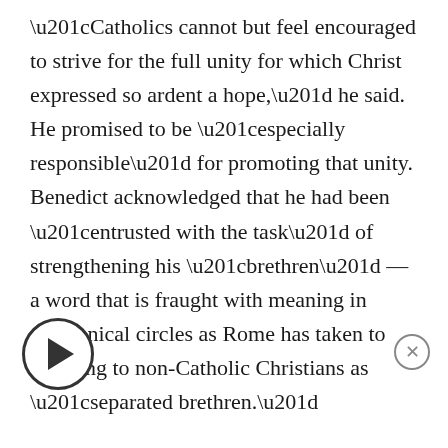“Catholics cannot but feel encouraged to strive for the full unity for which Christ expressed so ardent a hope,” he said. He promised to be “especially responsible” for promoting that unity. Benedict acknowledged that he had been “entrusted with the task” of strengthening his “brethren” — a word that is fraught with meaning in ecumenical circles as Rome has taken to referring to non-Catholic Christians as “separated brethren.”
Then he said something extraordinary and perhaps unprecedented: “With full awareness…at the beginning of his ministry in the Church of Rome which Peter bathed in his blood, Peter’s